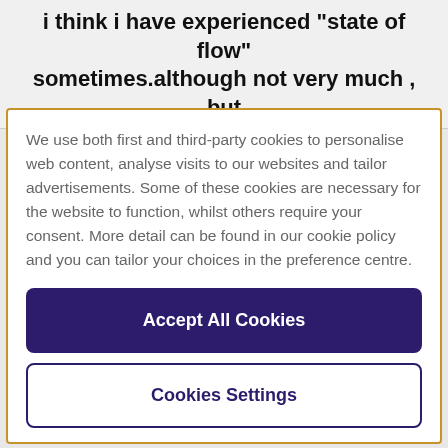i think i have experienced "state of flow" sometimes.although not very much , but
We use both first and third-party cookies to personalise web content, analyse visits to our websites and tailor advertisements. Some of these cookies are necessary for the website to function, whilst others require your consent. More detail can be found in our cookie policy and you can tailor your choices in the preference centre.
Accept All Cookies
Cookies Settings